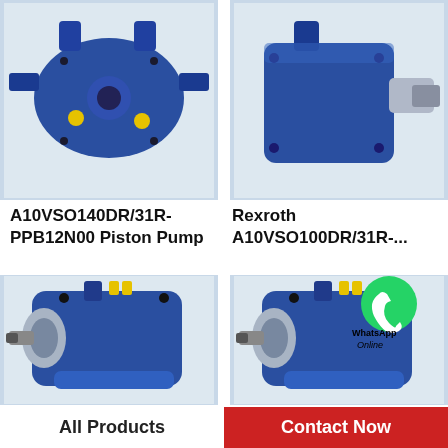[Figure (photo): Blue A10VSO140DR/31R-PPB12N00 piston pump with yellow ports, top-left]
[Figure (photo): Blue Rexroth A10VSO100DR/31R hydraulic pump side view, top-right]
A10VSO140DR/31R-PPB12N00 Piston Pump
Rexroth A10VSO100DR/31R-...
[Figure (photo): Large blue hydraulic piston pump with silver drive shaft, bottom-left]
[Figure (photo): Large blue hydraulic piston pump with WhatsApp Online overlay, bottom-right]
All Products
Contact Now